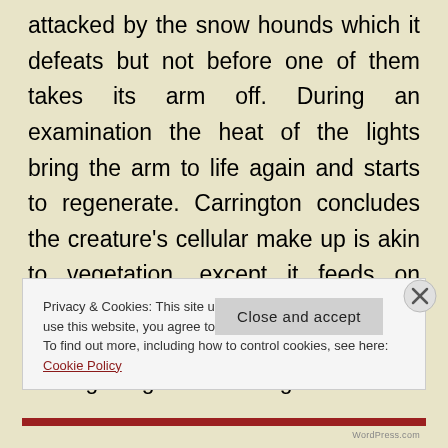attacked by the snow hounds which it defeats but not before one of them takes its arm off. During an examination the heat of the lights bring the arm to life again and starts to regenerate. Carrington concludes the creature's cellular make up is akin to vegetation, except it feeds on blood; embed it in soil, expose it to light and hydration and like your average vegetable it will grow.
Privacy & Cookies: This site uses cookies. By continuing to use this website, you agree to their use. To find out more, including how to control cookies, see here: Cookie Policy